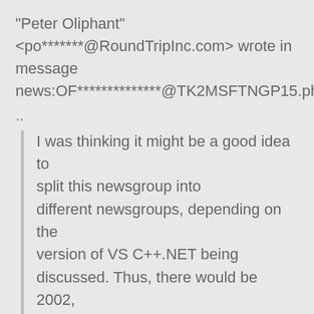"Peter Oliphant" <po*******@RoundTripInc.com> wrote in message news:OF**************@TK2MSFTNGP15.phx.gbl.
..
I was thinking it might be a good idea to split this newsgroup into different newsgroups, depending on the version of VS C++.NET being discussed. Thus, there would be 2002, 2003, and 2005 newsgroups instead of just one for all. This would at least end any confusion if someone asks a question and doesn't state which version they are using (which of course can change the answer to such questions).